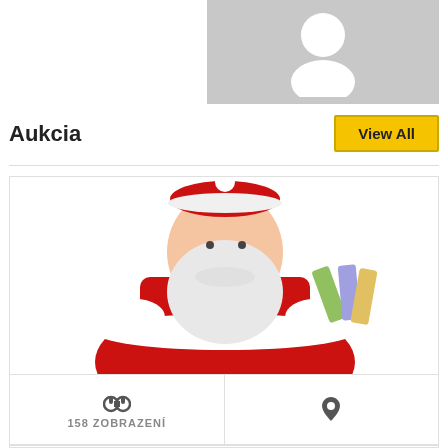[Figure (photo): Generic user profile placeholder icon on grey background]
Aukcia
[Figure (photo): Santa Claus holding euro banknotes, auction listing card image]
158 ZOBRAZENÍ
0 €